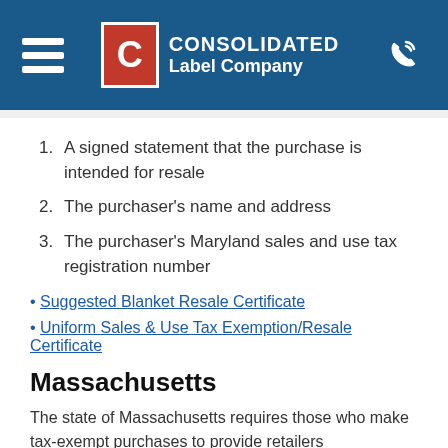CONSOLIDATED Label Company
A signed statement that the purchase is intended for resale
The purchaser's name and address
The purchaser's Maryland sales and use tax registration number
Suggested Blanket Resale Certificate
Uniform Sales & Use Tax Exemption/Resale Certificate
Massachusetts
The state of Massachusetts requires those who make tax-exempt purchases to provide retailers